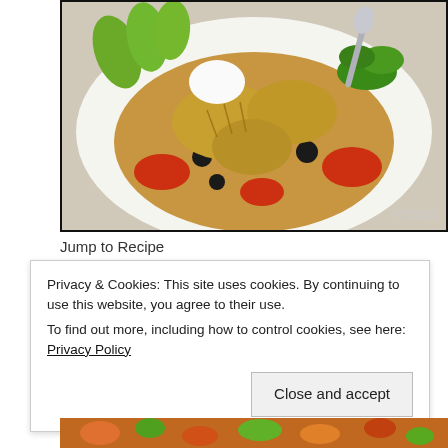[Figure (photo): A white bowl filled with a Mexican-style rice dish containing chicken, black beans, tomatoes, and garnished with avocado slices, sour cream, and cilantro. A spoon is visible. Copyright © 2020 watermark in lower right.]
Jump to Recipe
Privacy & Cookies: This site uses cookies. By continuing to use this website, you agree to their use.
To find out more, including how to control cookies, see here: Privacy Policy

Close and accept
[Figure (photo): Partial view of another food dish at the bottom of the page showing colorful ingredients including red, orange, and green pieces.]